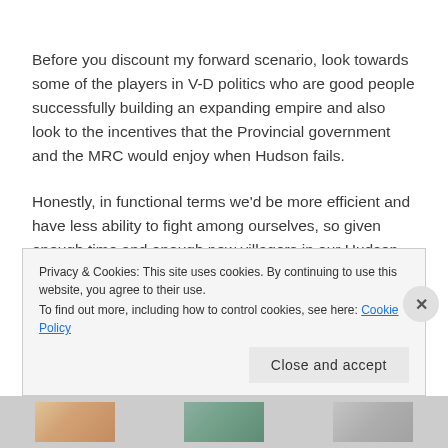Before you discount my forward scenario, look towards some of the players in V-D politics who are good people successfully building an expanding empire and also look to the incentives that the Provincial government and the MRC would enjoy when Hudson fails.
Honestly, in functional terms we'd be more efficient and have less ability to fight among ourselves, so given enough time and enough new villagers in our Hudson
Privacy & Cookies: This site uses cookies. By continuing to use this website, you agree to their use.
To find out more, including how to control cookies, see here: Cookie Policy
Close and accept